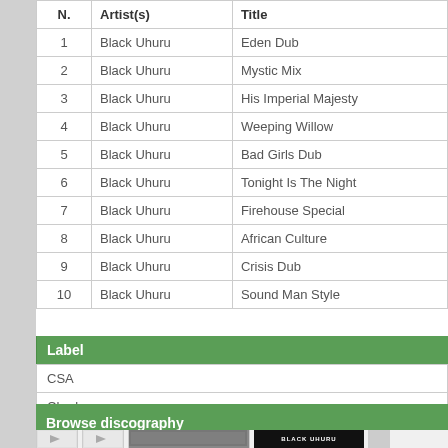| N. | Artist(s) | Title |
| --- | --- | --- |
| 1 | Black Uhuru | Eden Dub |
| 2 | Black Uhuru | Mystic Mix |
| 3 | Black Uhuru | His Imperial Majesty |
| 4 | Black Uhuru | Weeping Willow |
| 5 | Black Uhuru | Bad Girls Dub |
| 6 | Black Uhuru | Tonight Is The Night |
| 7 | Black Uhuru | Firehouse Special |
| 8 | Black Uhuru | African Culture |
| 9 | Black Uhuru | Crisis Dub |
| 10 | Black Uhuru | Sound Man Style |
Label
| CSA |
| Charly |
Browse discography
[Figure (photo): Album cover art strip showing Black Uhuru album images]